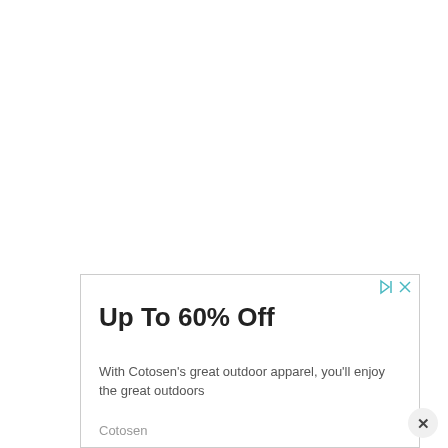[Figure (other): Advertisement banner for Cotosen outdoor apparel. Shows 'Up To 60% Off' headline with body text 'With Cotosen's great outdoor apparel, you'll enjoy the great outdoors' and brand name 'Cotosen'. Has ad indicator icons (play/forward and close X) in top right corner of the ad box.]